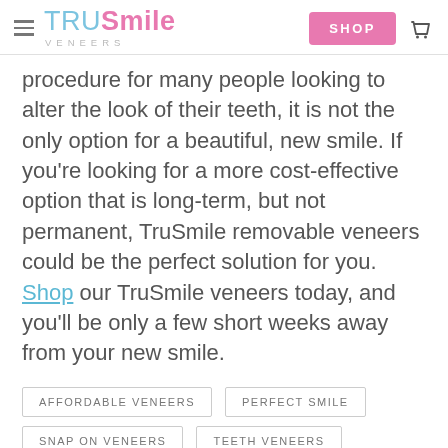TruSmile Veneers — SHOP
procedure for many people looking to alter the look of their teeth, it is not the only option for a beautiful, new smile. If you're looking for a more cost-effective option that is long-term, but not permanent, TruSmile removable veneers could be the perfect solution for you. Shop our TruSmile veneers today, and you'll be only a few short weeks away from your new smile.
AFFORDABLE VENEERS
PERFECT SMILE
SNAP ON VENEERS
TEETH VENEERS